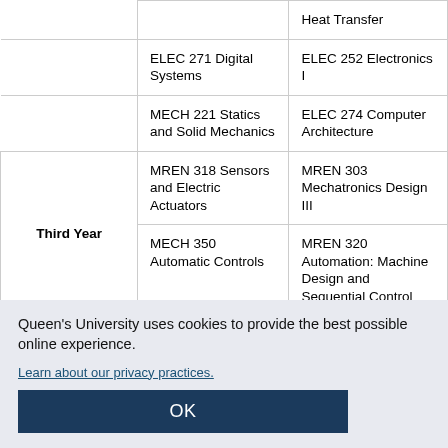| Year | Course 1 | Course 2 |
| --- | --- | --- |
|  |  | Heat Transfer |
|  | ELEC 271 Digital Systems | ELEC 252 Electronics I |
|  | MECH 221 Statics and Solid Mechanics | ELEC 274 Computer Architecture |
| Third Year | MREN 318 Sensors and Electric Actuators | MREN 303 Mechatronics Design III |
|  | MECH 350 Automatic Controls | MREN 320 Automation: Machine Design and Sequential Control |
Queen's University uses cookies to provide the best possible online experience.
Learn about our privacy practices.
OK